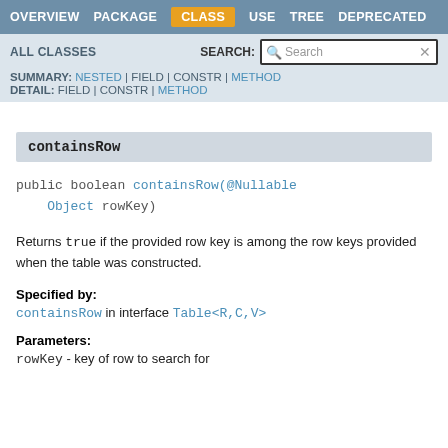OVERVIEW | PACKAGE | CLASS | USE | TREE | DEPRECATED
ALL CLASSES | SEARCH: [Search box]
SUMMARY: NESTED | FIELD | CONSTR | METHOD
DETAIL: FIELD | CONSTR | METHOD
containsRow
public boolean containsRow(@Nullable Object rowKey)
Returns true if the provided row key is among the row keys provided when the table was constructed.
Specified by:
containsRow in interface Table<R,C,V>
Parameters:
rowKey - key of row to search for